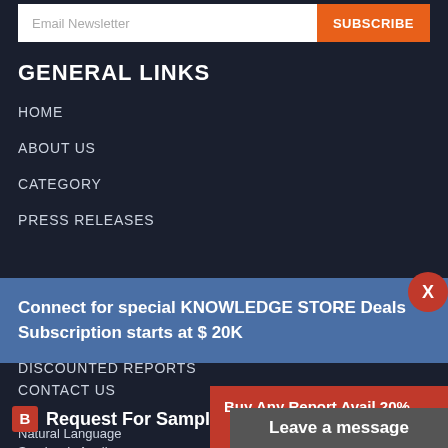[Figure (screenshot): Email newsletter subscription bar with input field and orange SUBSCRIBE button]
GENERAL LINKS
HOME
ABOUT US
CATEGORY
PRESS RELEASES
Connect for special KNOWLEDGE STORE Deals Subscription starts at $ 20K
DISCOUNTED REPORTS
CONTACT US
B  Request For Sample Of This Report
Natural Language... Services), Applic...
Buy Any Report Avail 20% Code:
Leave a message